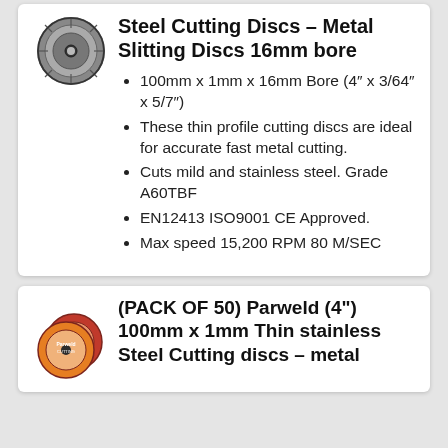[Figure (photo): Circular metal cutting disc/grinding wheel product image, top card]
Steel Cutting Discs – Metal Slitting Discs 16mm bore
100mm x 1mm x 16mm Bore (4″ x 3/64″ x 5/7″)
These thin profile cutting discs are ideal for accurate fast metal cutting.
Cuts mild and stainless steel. Grade A60TBF
EN12413 ISO9001 CE Approved.
Max speed 15,200 RPM 80 M/SEC
[Figure (photo): Pack of Parweld 4 inch cutting discs product image, bottom card]
(PACK OF 50) Parweld (4") 100mm x 1mm Thin stainless Steel Cutting discs – metal